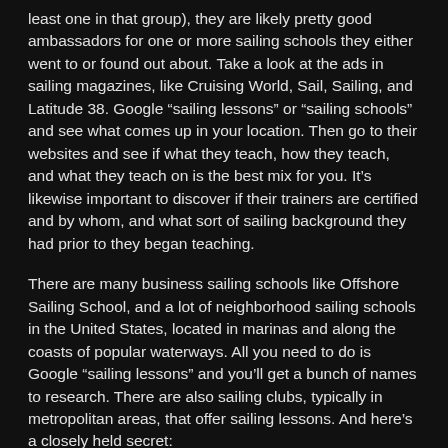least one in that group), they are likely pretty good ambassadors for one or more sailing schools they either went to or found out about. Take a look at the ads in sailing magazines, like Cruising World, Sail, Sailing, and Latitude 38. Google “sailing lessons” or “sailing schools” and see what comes up in your location. Then go to their websites and see if what they teach, how they teach, and what they teach on is the best mix for you. It’s likewise important to discover if their trainers are certified and by whom, and what sort of sailing background they had prior to they began teaching.
There are many business sailing schools like Offshore Sailing School, and a lot of neighborhood sailing schools in the United States, located in marinas and along the coasts of popular waterways. All you need to do is Google “sailing lessons” and you’ll get a bunch of names to research. There are also sailing clubs, typically in metropolitan areas, that offer sailing lessons. And here’s a closely held secret: